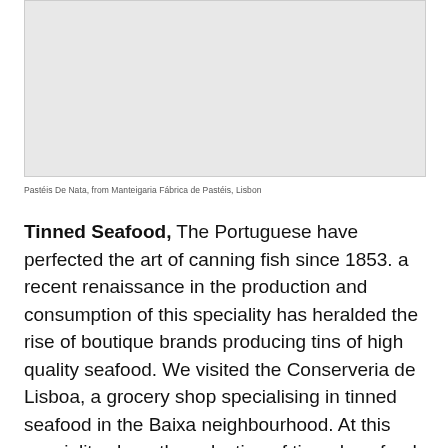[Figure (photo): Photo placeholder area for Pastéis De Nata from Manteigaria Fábrica de Pastéis, Lisbon]
Pastéis De Nata, from Manteigaria Fábrica de Pastéis, Lisbon
Tinned Seafood, The Portuguese have perfected the art of canning fish since 1853. a recent renaissance in the production and consumption of this speciality has heralded the rise of boutique brands producing tins of high quality seafood. We visited the Conserveria de Lisboa, a grocery shop specialising in tinned seafood in the Baixa neighbourhood. At this speciality shop, the selection of tinned seafood ranges from salmon to